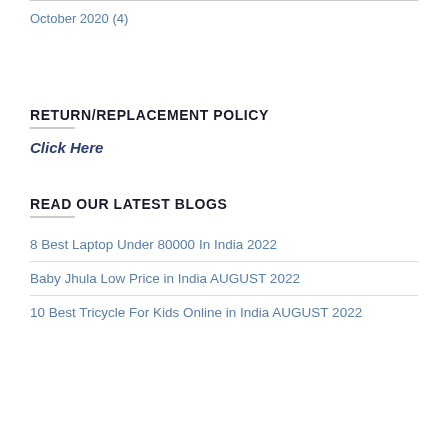October 2020 (4)
RETURN/REPLACEMENT POLICY
Click Here
READ OUR LATEST BLOGS
8 Best Laptop Under 80000 In India 2022
Baby Jhula Low Price in India AUGUST 2022
10 Best Tricycle For Kids Online in India AUGUST 2022